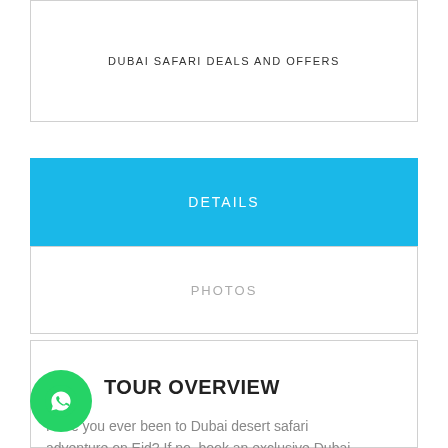DUBAI SAFARI DEALS AND OFFERS
DETAILS
PHOTOS
TOUR OVERVIEW
Have you ever been to Dubai desert safari adventure on Eid? If no, book an exclusive Dubai